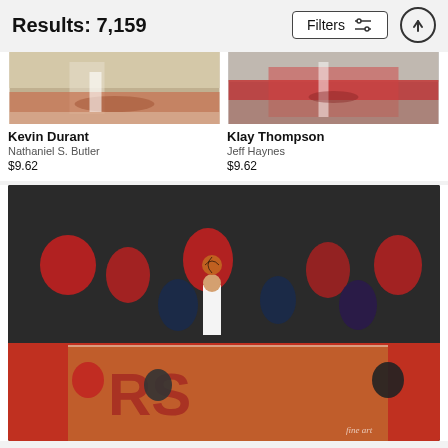Results: 7,159
[Figure (screenshot): Filters button with sliders icon]
[Figure (photo): Kevin Durant basketball action photo on court]
Kevin Durant
Nathaniel S. Butler
$9.62
[Figure (photo): Klay Thompson basketball action photo on court]
Klay Thompson
Jeff Haynes
$9.62
[Figure (photo): NBA basketball player shooting in a crowded arena with fans in red Raptors gear, fine art watermark visible]